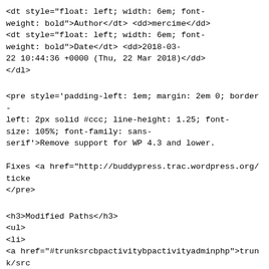<dt style="float: left; width: 6em; font-weight: bold">Author</dt> <dd>mercime</dd>
<dt style="float: left; width: 6em; font-weight: bold">Date</dt> <dd>2018-03-22 10:44:36 +0000 (Thu, 22 Mar 2018)</dd>
</dl>
<pre style='padding-left: 1em; margin: 2em 0; border-left: 2px solid #ccc; line-height: 1.25; font-size: 105%; font-family: sans-serif'>Remove support for WP 4.3 and lower.

Fixes <a href="http://buddypress.trac.wordpress.org/ticke
</pre>
<h3>Modified Paths</h3>
<ul>
<li>
<a href="#trunksrcbpactivitybpactivityadminphp">trunk/src/bp-activity/bp-activity-admin.php</a></li>
<li>
<a href="#trunksrcbpgroupsbpgroupsadminphp">trunk/src/bp-groups/bp-groups-admin.php</a></li>
<li>
<a href="#trunksrcbpmembersclassesclassbpmembersadminphp">members/classes/class-bp-members-admin.php</a></li>
</ul>
</div>
<div id="patch">